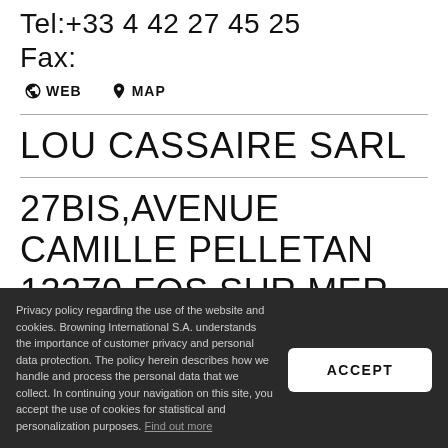Tel:+33 4 42 27 45 25
Fax:
🌐WEB  📍MAP
LOU CASSAIRE SARL
27BIS,AVENUE CAMILLE PELLETAN
13270 FOS SUR MER
Privacy policy regarding the use of the website and cookies. Browning International S.A. understands the importance of customer privacy and personal data protection. The policy herein describes how we handle and process the personal data that we collect. In continuing your navigation on this site, you accept the use of cookies for statistical and personalization purposes. Find out more